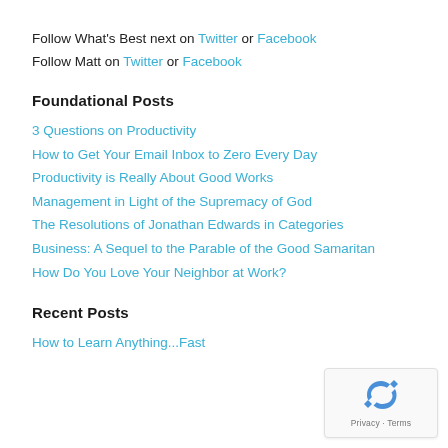Follow What's Best next on Twitter or Facebook
Follow Matt on Twitter or Facebook
Foundational Posts
3 Questions on Productivity
How to Get Your Email Inbox to Zero Every Day
Productivity is Really About Good Works
Management in Light of the Supremacy of God
The Resolutions of Jonathan Edwards in Categories
Business: A Sequel to the Parable of the Good Samaritan
How Do You Love Your Neighbor at Work?
Recent Posts
How to Learn Anything...Fast